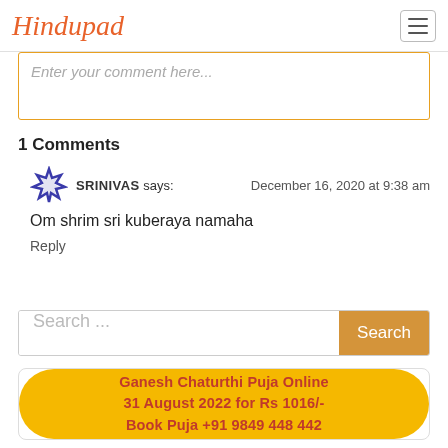Hindupad
Enter your comment here...
1 Comments
SRINIVAS says: December 16, 2020 at 9:38 am
Om shrim sri kuberaya namaha
Reply
Search ...
Ganesh Chaturthi Puja Online 31 August 2022 for Rs 1016/- Book Puja +91 9849 448 442